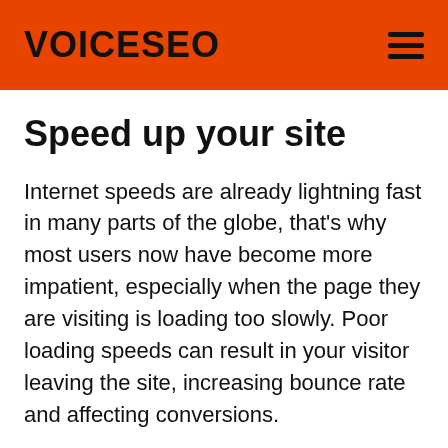VOICESEO
Speed up your site
Internet speeds are already lightning fast in many parts of the globe, that's why most users now have become more impatient, especially when the page they are visiting is loading too slowly. Poor loading speeds can result in your visitor leaving the site, increasing bounce rate and affecting conversions.
The ideal page load time for websites is around 2 seconds, and there are many